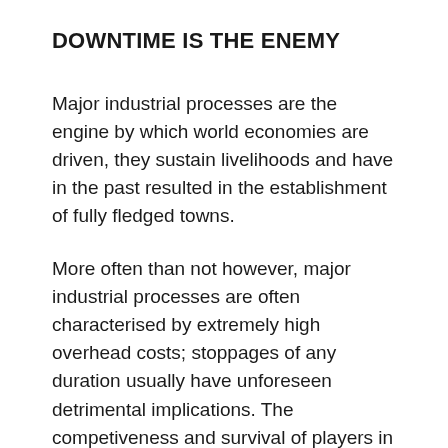DOWNTIME IS THE ENEMY
Major industrial processes are the engine by which world economies are driven, they sustain livelihoods and have in the past resulted in the establishment of fully fledged towns.
More often than not however, major industrial processes are often characterised by extremely high overhead costs; stoppages of any duration usually have unforeseen detrimental implications. The competiveness and survival of players in industry is heavily dependent on the state of manufacturing equipment's modernity, efficiency, effectiveness and